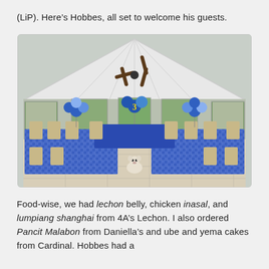(LiP). Here's Hobbes, all set to welcome his guests.
[Figure (photo): Interior of a tent or gazebo set up for a birthday party. Blue and white gingham tablecloths cover the tables, blue and white balloon centerpieces, a ceiling fan overhead, windows with blinds showing greenery outside. A small fluffy white dog sits on the tiled floor in the foreground.]
Food-wise, we had lechon belly, chicken inasal, and lumpiang shanghai from 4A's Lechon. I also ordered Pancit Malabon from Daniella's and ube and yema cakes from Cardinal. Hobbes had a